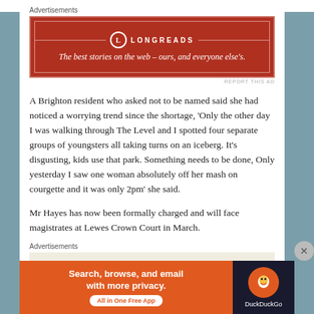Advertisements
[Figure (other): Longreads advertisement banner — red background with logo and tagline: The best stories on the web – ours, and everyone else's.]
A Brighton resident who asked not to be named said she had noticed a worrying trend since the shortage, 'Only the other day I was walking through The Level and I spotted four separate groups of youngsters all taking turns on an iceberg. It's disgusting, kids use that park. Something needs to be done, Only yesterday I saw one woman absolutely off her mash on courgette and it was only 2pm' she said.
Mr Hayes has now been formally charged and will face magistrates at Lewes Crown Court in March.
Advertisements
Advertisements
[Figure (other): DuckDuckGo advertisement banner — Search, browse, and email with more privacy. All in One Free App]